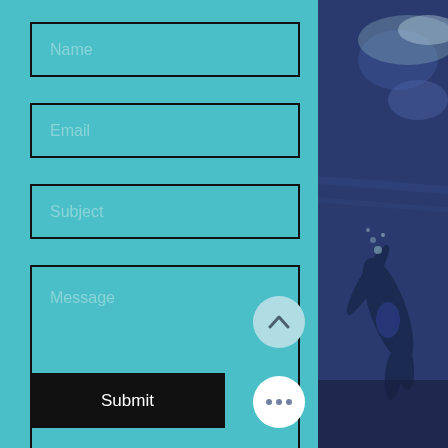[Figure (screenshot): Contact form with teal background showing four input fields (Name, Email, Subject, Message), a Submit button, a scroll-up circle button, and a more-options circle button. Right side shows a photo of a swimmer underwater.]
Name
Email
Subject
Message
Submit